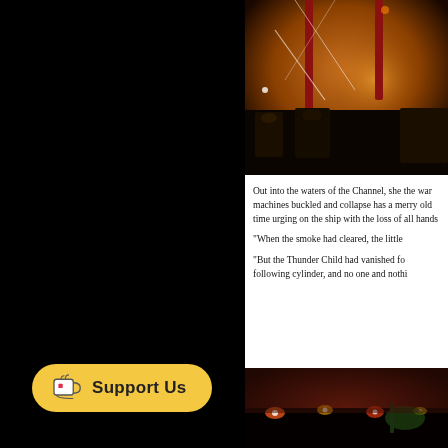[Figure (photo): Concert stage photo with orange/amber lighting, musicians performing, tall red structures on stage, projected imagery in background]
Out into the waters of the Channel, she the war machines buckled and collapse has a merry old time urging on the ship with the loss of all hands
"When the smoke had cleared, the little
"But the Thunder Child had vanished fo following cylinder, and no one and nothi
[Figure (photo): Concert stage photo with warm red/orange lighting, atmospheric fog/haze, stage equipment visible]
[Figure (logo): Support Us button with Ko-fi cup icon on yellow/gold rounded button background]